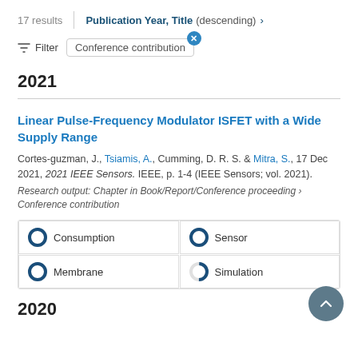17 results   Publication Year, Title (descending) ›
Filter   Conference contribution
2021
Linear Pulse-Frequency Modulator ISFET with a Wide Supply Range
Cortes-guzman, J., Tsiamis, A., Cumming, D. R. S. & Mitra, S., 17 Dec 2021, 2021 IEEE Sensors. IEEE, p. 1-4 (IEEE Sensors; vol. 2021).
Research output: Chapter in Book/Report/Conference proceeding › Conference contribution
Consumption | Sensor | Membrane | Simulation
2020